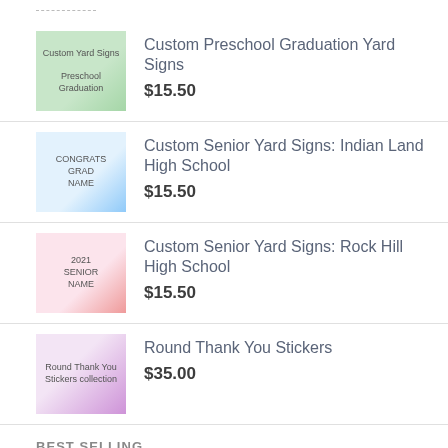Custom Preschool Graduation Yard Signs $15.50
Custom Senior Yard Signs: Indian Land High School $15.50
Custom Senior Yard Signs: Rock Hill High School $15.50
Round Thank You Stickers $35.00
BEST SELLING